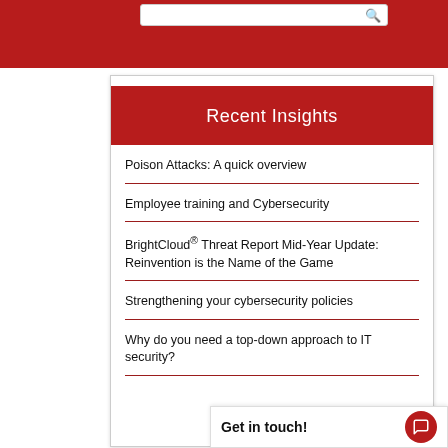Recent Insights
Poison Attacks: A quick overview
Employee training and Cybersecurity
BrightCloud® Threat Report Mid-Year Update: Reinvention is the Name of the Game
Strengthening your cybersecurity policies
Why do you need a top-down approach to IT security?
Get in touch!